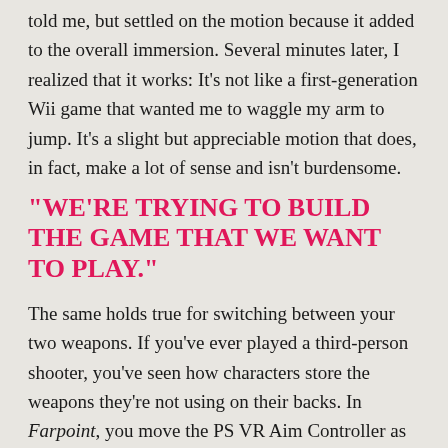told me, but settled on the motion because it added to the overall immersion. Several minutes later, I realized that it works: It's not like a first-generation Wii game that wanted me to waggle my arm to jump. It's a slight but appreciable motion that does, in fact, make a lot of sense and isn't burdensome.
"WE'RE TRYING TO BUILD THE GAME THAT WE WANT TO PLAY."
The same holds true for switching between your two weapons. If you've ever played a third-person shooter, you've seen how characters store the weapons they're not using on their backs. In Farpoint, you move the PS VR Aim Controller as if you were going to store in on your back to switch weapons. It works, and it's pretty rad.